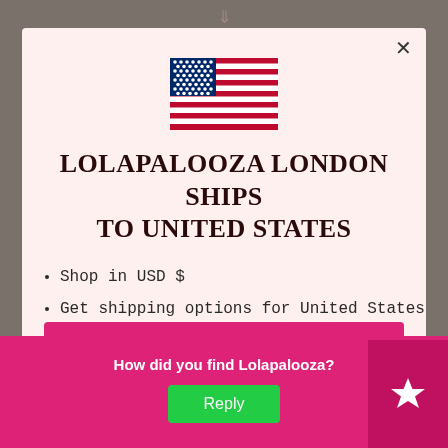[Figure (illustration): US flag emoji/icon centered at top of modal]
LOLAPALOOZA LONDON SHIPS TO UNITED STATES
Shop in USD $
Get shipping options for United States
Shop now
How did you find Lolapalooza?
Reply